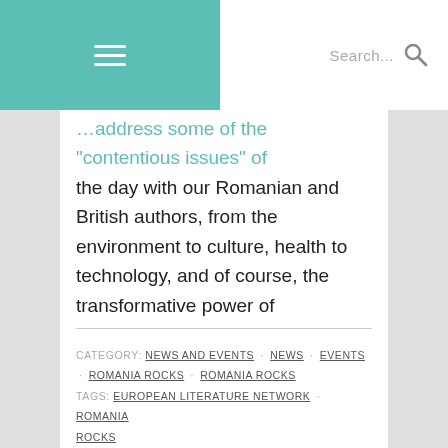≡  Search...  🔍
the day with our Romanian and British authors, from the environment to culture, health to technology, and of course, the transformative power of storytelling. Can literature make sense of today's traumas and challenges and illuminate our lives?
CATEGORY: NEWS AND EVENTS · NEWS · EVENTS · ROMANIA ROCKS · ROMANIA ROCKS
TAGS: EUROPEAN LITERATURE NETWORK · ROMANIA ROCKS